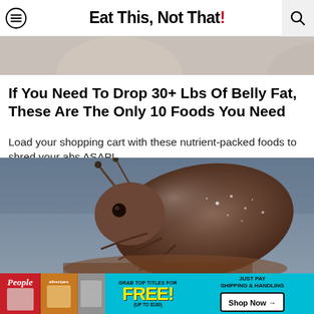Eat This, Not That!
[Figure (photo): Partial top image, cropped, showing what appears to be a close-up food/nature photo strip at the top of the page]
If You Need To Drop 30+ Lbs Of Belly Fat, These Are The Only 10 Foods You Need
Load your shopping cart with these nutrient-packed foods to shred your abs ASAP!
[Figure (photo): Close-up macro photograph of a brown/reddish beetle (weevil) against a blue-gray background. The insect is shown in profile, facing left, with visible antennae and textured shell.]
[Figure (other): Advertisement banner overlay: 'GRAB TOP TITLES FOR FREE! (UP TO $100)' with magazine covers (People, allrecipes) and 'JUST PAY SHIPPING & HANDLING / Shop Now →' button on cyan/turquoise background]